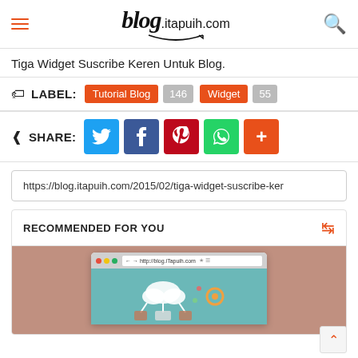blog.itapuih.com
Tiga Widget Suscribe Keren Untuk Blog.
LABEL: Tutorial Blog 146  Widget 55
SHARE: (Twitter, Facebook, Pinterest, WhatsApp, More)
https://blog.itapuih.com/2015/02/tiga-widget-suscribe-ker
RECOMMENDED FOR YOU
[Figure (screenshot): Browser screenshot showing blog.iTapuih.com with tech/cloud illustration on teal background, displayed over a pink-brown background]